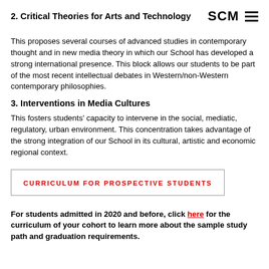2. Critical Theories for Arts and Technology | SCM ☰
This proposes several courses of advanced studies in contemporary thought and in new media theory in which our School has developed a strong international presence. This block allows our students to be part of the most recent intellectual debates in Western/non-Western contemporary philosophies.
3. Interventions in Media Cultures
This fosters students' capacity to intervene in the social, mediatic, regulatory, urban environment. This concentration takes advantage of the strong integration of our School in its cultural, artistic and economic regional context.
CURRICULUM FOR PROSPECTIVE STUDENTS
For students admitted in 2020 and before, click here for the curriculum of your cohort to learn more about the sample study path and graduation requirements.